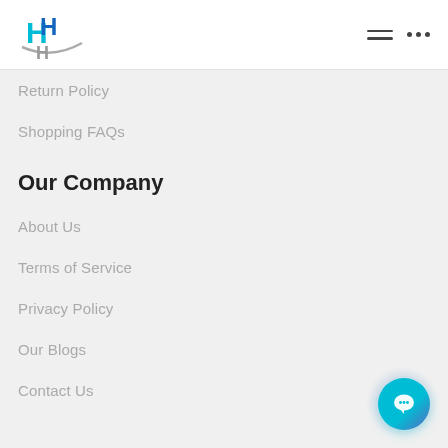Logo and navigation header
Return Policy
Shopping FAQs
Our Company
About Us
Terms of Service
Privacy Policy
Our Blogs
Contact Us